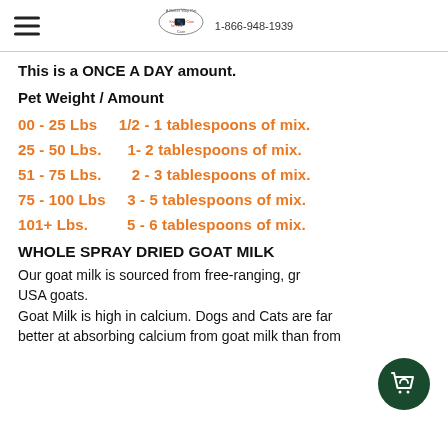A Better Way Pet Care 1-866-948-1939
This is a ONCE A DAY amount.
Pet Weight / Amount
00 - 25 Lbs    1/2 - 1 tablespoons of mix.
25 - 50 Lbs.    1- 2 tablespoons of mix.
51 - 75 Lbs.    2 - 3 tablespoons of mix.
75 - 100 Lbs    3 - 5 tablespoons of mix.
101+ Lbs.    5 - 6 tablespoons of mix.
WHOLE SPRAY DRIED GOAT MILK
Our goat milk is sourced from free-ranging, gr USA goats.
Goat Milk is high in calcium. Dogs and Cats are far better at absorbing calcium from goat milk than from